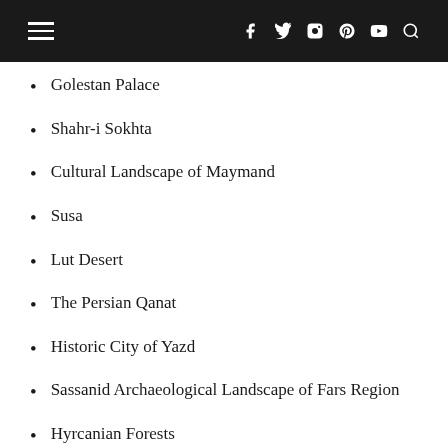Navigation bar with menu, social icons (f, Twitter, Instagram, Pinterest, YouTube), and search
Golestan Palace
Shahr-i Sokhta
Cultural Landscape of Maymand
Susa
Lut Desert
The Persian Qanat
Historic City of Yazd
Sassanid Archaeological Landscape of Fars Region
Hyrcanian Forests
Iraq